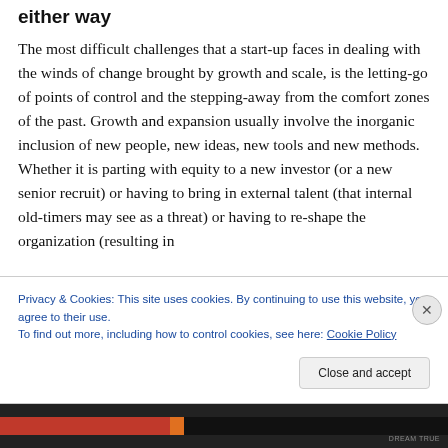either way
The most difficult challenges that a start-up faces in dealing with the winds of change brought by growth and scale, is the letting-go of points of control and the stepping-away from the comfort zones of the past. Growth and expansion usually involve the inorganic inclusion of new people, new ideas, new tools and new methods. Whether it is parting with equity to a new investor (or a new senior recruit) or having to bring in external talent (that internal old-timers may see as a threat) or having to re-shape the organization (resulting in
Privacy & Cookies: This site uses cookies. By continuing to use this website, you agree to their use.
To find out more, including how to control cookies, see here: Cookie Policy
Close and accept